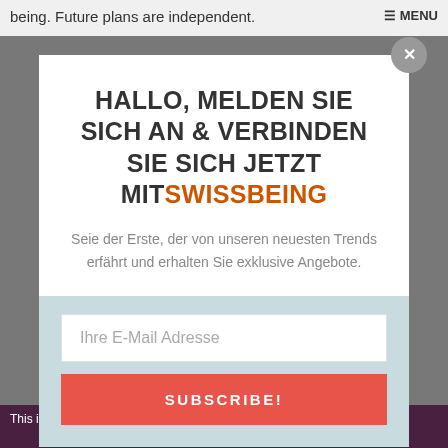being. Future plans are independent.
HALLO, MELDEN SIE SICH AN & VERBINDEN SIE SICH JETZT MITSWISSBEING
Seie der Erste, der von unseren neuesten Trends erfährt und erhalten Sie exklusive Angebote.
Ihre E-Mail Adresse
SUBSCRIBE!
This is ... ulfilled.
Dismiss